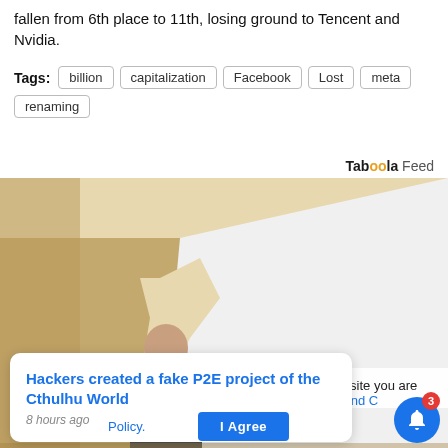fallen from 6th place to 11th, losing ground to Tencent and Nvidia.
Tags: billion  capitalization  Facebook  Lost  meta  renaming
[Figure (screenshot): Taboola Feed advertisement showing a man painting a wall white from behind, with an X close button overlay]
Hackers created a fake P2E project of the Cthulhu World
8 hours ago
his website you are
rivacy and
Policy.
I Agree